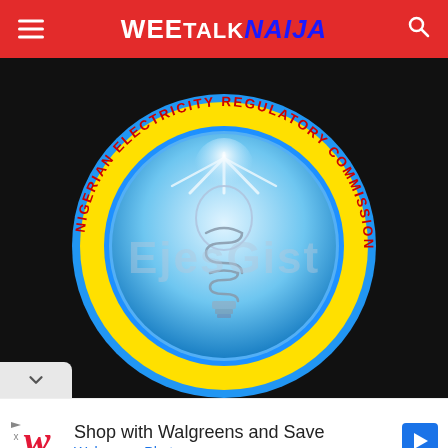WEE TALK NAIJA
[Figure (logo): Nigerian Electricity Regulatory Commission (NERC) circular logo with yellow ring, blue border, red text around the ring reading 'NIGERIAN ELECTRICITY REGULATORY COMMISSION', and a glowing light bulb in the center on a blue gradient background. Watermark text 'EjesGist' overlaid. Black background behind the logo.]
Shop with Walgreens and Save
Walgreens Photo